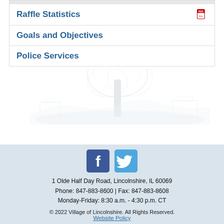Raffle Statistics
Goals and Objectives
Police Services
[Figure (screenshot): Faded pencil sketch of a large tree and buildings in the background used as decorative watermark in footer area]
[Figure (logo): Facebook and Twitter social media icon buttons]
1 Olde Half Day Road, Lincolnshire, IL 60069
Phone: 847-883-8600 | Fax: 847-883-8608
Monday-Friday: 8:30 a.m. - 4:30 p.m. CT
© 2022 Village of Lincolnshire. All Rights Reserved.
Website Policy